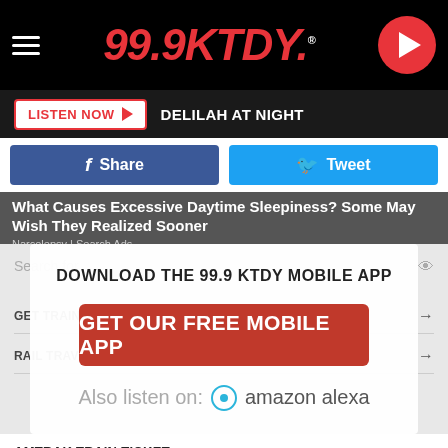99.9KTDY
LISTEN NOW  DELILAH AT NIGHT
Share  Tweet
What Causes Excessive Daytime Sleepiness? Some May Wish They Realized Sooner
Narcolepsy | Search Ads
DOWNLOAD THE 99.9 KTDY MOBILE APP
GET OUR FREE MOBILE APP
Also listen on:  amazon alexa
GET TRAIN SCHEDULES →
RAIL TRAVEL SCHEDULES →
AMTRAK'S AUTO TRAIN →
AMTRAK TRAIN TICKET →